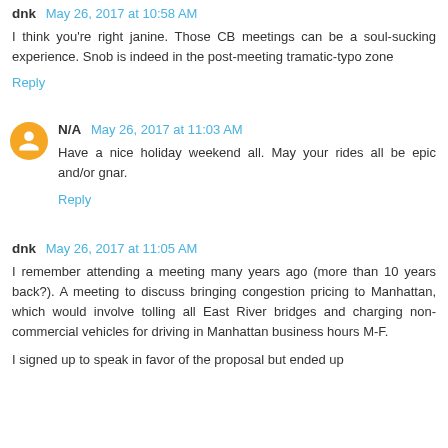dnk May 26, 2017 at 10:58 AM
I think you're right janine. Those CB meetings can be a soul-sucking experience. Snob is indeed in the post-meeting tramatic-typo zone
Reply
N/A May 26, 2017 at 11:03 AM
Have a nice holiday weekend all. May your rides all be epic and/or gnar.
Reply
dnk May 26, 2017 at 11:05 AM
I remember attending a meeting many years ago (more than 10 years back?). A meeting to discuss bringing congestion pricing to Manhattan, which would involve tolling all East River bridges and charging non-commercial vehicles for driving in Manhattan business hours M-F.
I signed up to speak in favor of the proposal but ended up